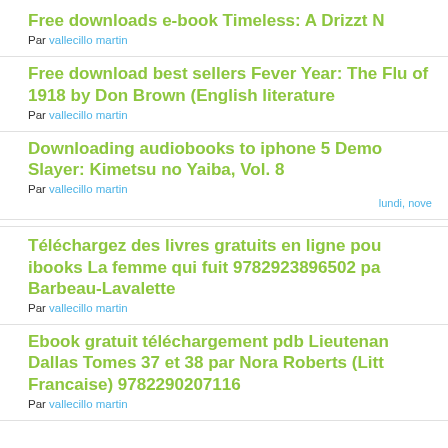Free downloads e-book Timeless: A Drizzt N
Par vallecillo martin
Free download best sellers Fever Year: The Flu of 1918 by Don Brown (English literature
Par vallecillo martin
Downloading audiobooks to iphone 5 Demo Slayer: Kimetsu no Yaiba, Vol. 8
Par vallecillo martin
lundi, nove
Téléchargez des livres gratuits en ligne pou ibooks La femme qui fuit 9782923896502 pa Barbeau-Lavalette
Par vallecillo martin
Ebook gratuit téléchargement pdb Lieutenan Dallas Tomes 37 et 38 par Nora Roberts (Litt Francaise) 9782290207116
Par vallecillo martin